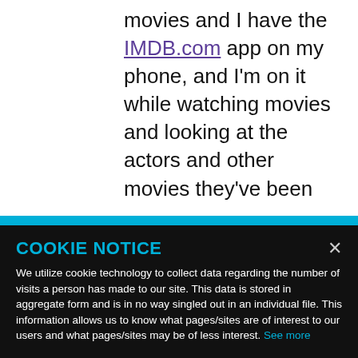movies and I have the IMDB.com app on my phone, and I'm on it while watching movies and looking at the actors and other movies they've been
COOKIE NOTICE
We utilize cookie technology to collect data regarding the number of visits a person has made to our site. This data is stored in aggregate form and is in no way singled out in an individual file. This information allows us to know what pages/sites are of interest to our users and what pages/sites may be of less interest. See more